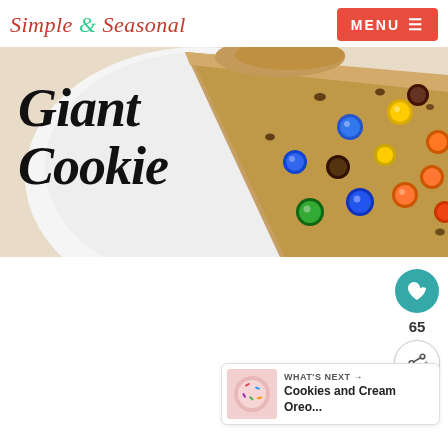Simple & Seasonal
[Figure (photo): Overhead photo of a giant M&M cookie on a white plate with colorful M&M candies on top. Text overlay reads 'Giant Cookie' in large black italic script font.]
[Figure (photo): Small thumbnail of Cookies and Cream Oreo recipe photo in 'What's Next' widget.]
65
WHAT'S NEXT → Cookies and Cream Oreo...